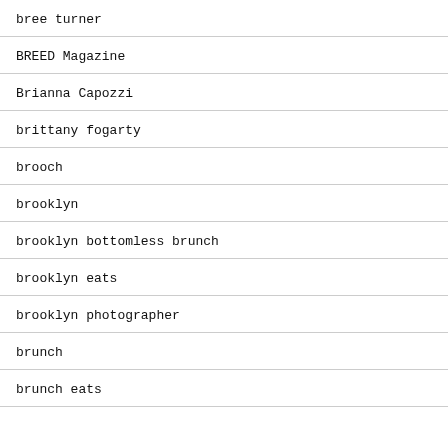bree turner
BREED Magazine
Brianna Capozzi
brittany fogarty
brooch
brooklyn
brooklyn bottomless brunch
brooklyn eats
brooklyn photographer
brunch
brunch eats